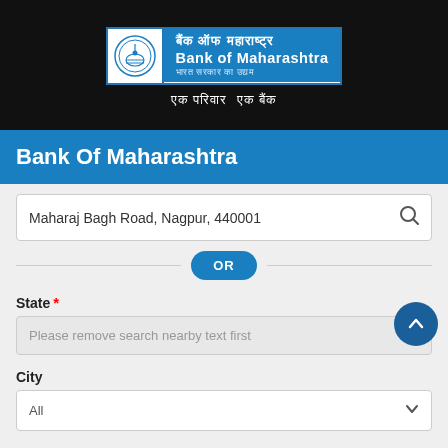[Figure (logo): Bank of Maharashtra logo with circular emblem, Hindi text 'बैंक ऑफ महाराष्ट्र', English text 'Bank of Maharashtra', and Hindi tagline 'भारत सरकार का उद्यम', with tagline below 'एक परिवार एक बैंक']
Bank Of Maharashtra
Maharaj Bagh Road, Nagpur, 440001
OR
State *
Please remove search nearby text first
City
All